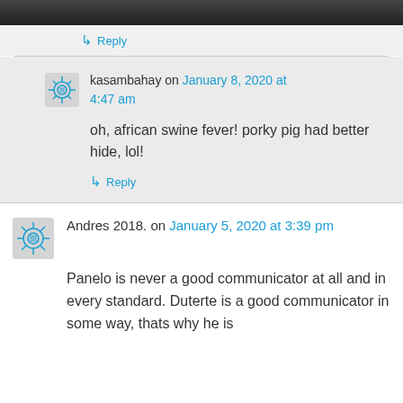[Figure (photo): Partial image at top of page, dark background visible at bottom edge]
↳ Reply
kasambahay on January 8, 2020 at 4:47 am
oh, african swine fever! porky pig had better hide, lol!
↳ Reply
Andres 2018. on January 5, 2020 at 3:39 pm
Panelo is never a good communicator at all and in every standard. Duterte is a good communicator in some way, thats why he is